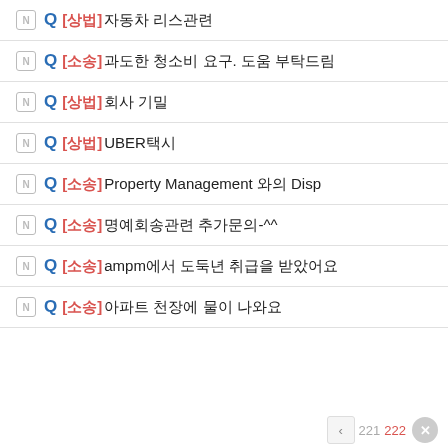Q [상법] 자동차 리스관련
Q [소송] 과도한 청소비 요구. 도움 부탁드림
Q [상법] 회사 기밀
Q [상법] UBER택시
Q [소송] Property Management 와의 Disp
Q [소송] 명예회송관련 추가문의-^^
Q [소송] ampm에서 도둑년 취급을 받았어요
Q [소송] 아파트 천장에 물이 나와요
< 221 222 ×